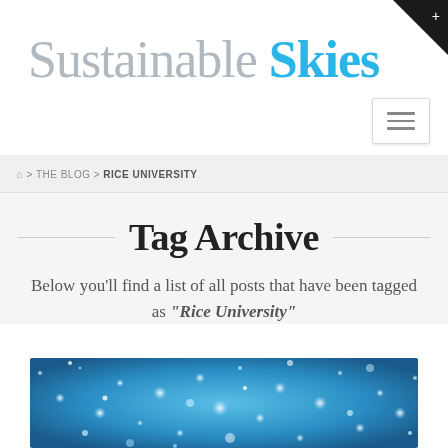Sustainable Skies
🏠 > THE BLOG > RICE UNIVERSITY
Tag Archive
Below you'll find a list of all posts that have been tagged as "Rice University"
[Figure (photo): Blue sparkly glitter bokeh background photo]